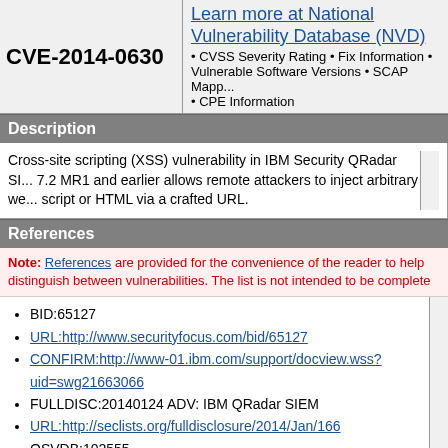CVE-2014-0630
Learn more at National Vulnerability Database (NVD) • CVSS Severity Rating • Fix Information • Vulnerable Software Versions • SCAP Mappings • CPE Information
Description
Cross-site scripting (XSS) vulnerability in IBM Security QRadar SIEM 7.2 MR1 and earlier allows remote attackers to inject arbitrary web script or HTML via a crafted URL.
References
Note: References are provided for the convenience of the reader to help distinguish between vulnerabilities. The list is not intended to be complete
BID:65127
URL:http://www.securityfocus.com/bid/65127
CONFIRM:http://www-01.ibm.com/support/docview.wss?uid=swg21663066
FULLDISC:20140124 ADV: IBM QRadar SIEM
URL:http://seclists.org/fulldisclosure/2014/Jan/166
OSVDB:102555
URL:http://osvdb.org/102555
SECUNIA:56653
URL:http://secunia.com/advisories/56653